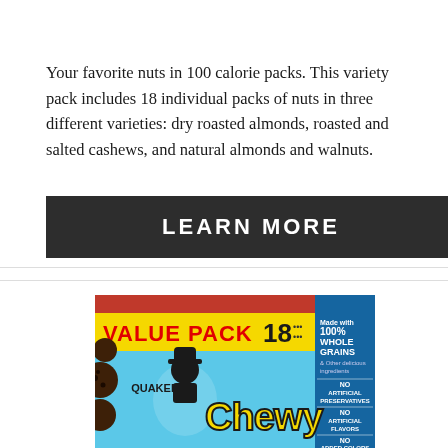Your favorite nuts in 100 calorie packs. This variety pack includes 18 individual packs of nuts in three different varieties: dry roasted almonds, roasted and salted cashews, and natural almonds and walnuts.
LEARN MORE
[Figure (photo): Quaker Chewy granola bars box, Value Pack 18 count, with blue and yellow packaging showing 100% Whole Grains, No Artificial Preservatives, No Artificial Flavors, No Added Colors]